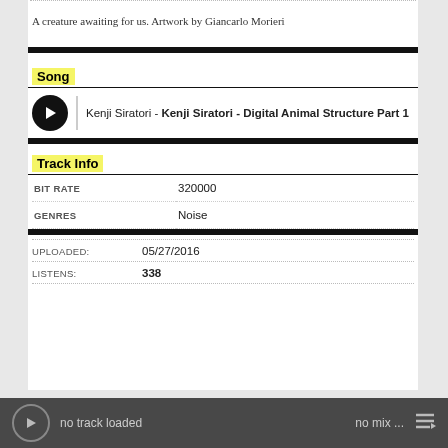A creature awaiting for us. Artwork by Giancarlo Morieri
Song
Kenji Siratori - Kenji Siratori - Digital Animal Structure Part 1
Track Info
|  |  |
| --- | --- |
| BIT RATE | 320000 |
| GENRES | Noise |
UPLOADED: 05/27/2016
LISTENS: 338
no track loaded    no mix ...